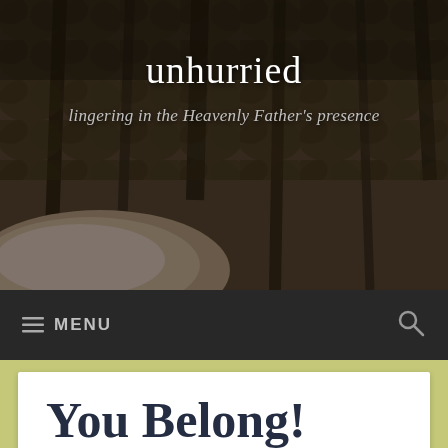[Figure (photo): Forest/trees background photo with rocks, dark muted tones]
unhurried
lingering in the Heavenly Father's presence
≡ MENU
You Belong!
I hear my Abba's still, small voice:
“Let Me remind you, My child, that you belong to Me! I have begun a very good work in you and I